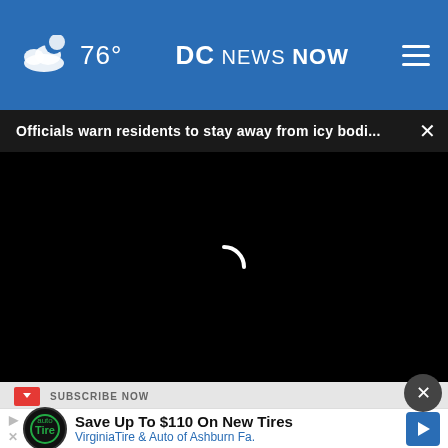76° DC NEWS NOW
Officials warn residents to stay away from icy bodi... ×
[Figure (screenshot): Black video player with loading spinner (white curved arc) in center]
SUBSCRIBE NOW
Save Up To $110 On New Tires VirginiaTire & Auto of Ashburn Fa.